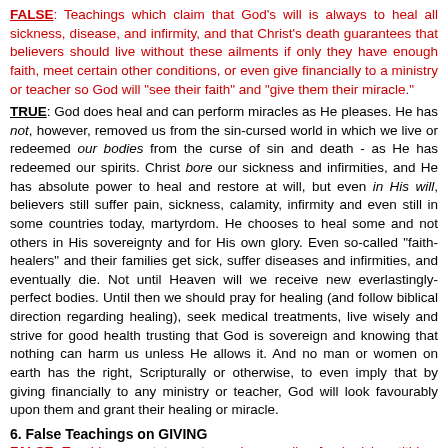FALSE: Teachings which claim that God's will is always to heal all sickness, disease, and infirmity, and that Christ's death guarantees that believers should live without these ailments if only they have enough faith, meet certain other conditions, or even give financially to a ministry or teacher so God will "see their faith" and "give them their miracle."
TRUE: God does heal and can perform miracles as He pleases. He has not, however, removed us from the sin-cursed world in which we live or redeemed our bodies from the curse of sin and death - as He has redeemed our spirits. Christ bore our sickness and infirmities, and He has absolute power to heal and restore at will, but even in His will, believers still suffer pain, sickness, calamity, infirmity and even still in some countries today, martyrdom. He chooses to heal some and not others in His sovereignty and for His own glory. Even so-called "faith-healers" and their families get sick, suffer diseases and infirmities, and eventually die. Not until Heaven will we receive new everlastingly-perfect bodies. Until then we should pray for healing (and follow biblical direction regarding healing), seek medical treatments, live wisely and strive for good health trusting that God is sovereign and knowing that nothing can harm us unless He allows it. And no man or women on earth has the right, Scripturally or otherwise, to even imply that by giving financially to any ministry or teacher, God will look favourably upon them and grant their healing or miracle.
6. False Teachings on GIVING
FALSE: Teachings or statements made regarding fund-raising, tithing, and financial giving which are expressed as promises or guarantees (supposedly but erroneously based on the Word of God) that by giving financially, a person will become debt free, will receive a miracle (financial or otherwise), will be blessed by a certain multiplied amount within a certain period of time, or will benefit in any other way that even